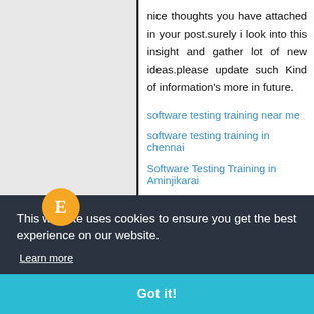nice thoughts you have attached in your post.surely i look into this insight and gather lot of new ideas.please update such Kind of information's more in future.
software testing training near me
software testing training in chennai
Software Testing Training in Aminjikarai
Software Testing Training Institutes in Vadapalani
Software Testing Training in Kelambakkam
This website uses cookies to ensure you get the best experience on our website.
Learn more
Got it!